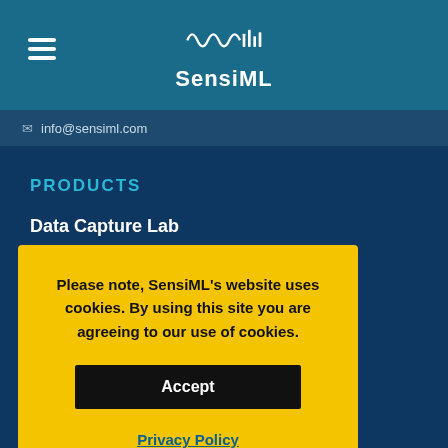SensiML
info@sensiml.com
PRODUCTS
Data Capture Lab
Analytics Studio
Please note, SensiML's website uses cookies. By using this site you are agreeing to our use of cookies.
Accept
Privacy Policy